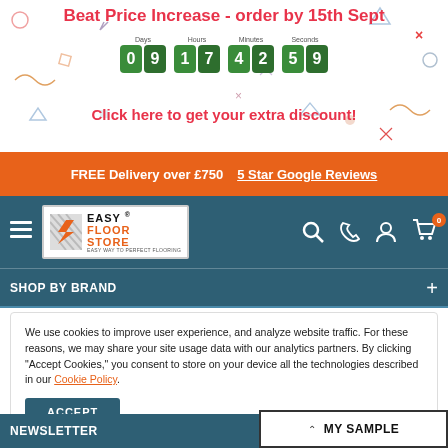Beat Price Increase - order by 15th Sept
[Figure (infographic): Countdown timer showing 09 Days, 17 Hours, 42 Minutes, 59 Seconds with green digit blocks]
Click here to get your extra discount!
FREE Delivery over £750  5 Star Google Reviews
[Figure (logo): Easy Floor Store logo with orange arrow icon and teal background navigation bar including hamburger menu, search, phone, account, and cart icons]
SHOP BY BRAND
We use cookies to improve user experience, and analyze website traffic. For these reasons, we may share your site usage data with our analytics partners. By clicking "Accept Cookies," you consent to store on your device all the technologies described in our Cookie Policy.
ACCEPT
MY SAMPLE
NEWSLETTER